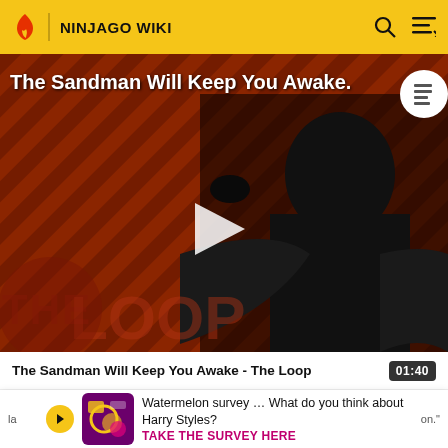NINJAGO WIKI
[Figure (screenshot): Video thumbnail showing a dark-robed figure against a diagonal stripe background with 'THE LOOP' text overlay and a play button. Title reads 'The Sandman Will Keep You Awake.']
The Sandman Will Keep You Awake - The Loop  01:40
Watermelon survey … What do you think about Harry Styles? TAKE THE SURVEY HERE